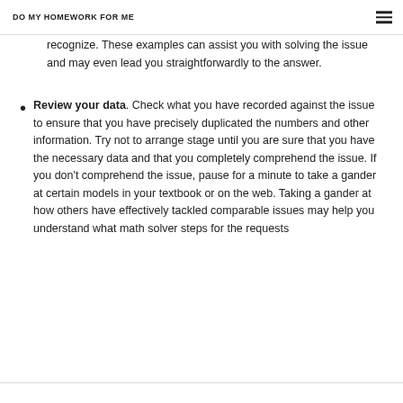DO MY HOMEWORK FOR ME
make a table to assist you with recognizing an example or examples in the issue. Take notes on any example that you recognize. These examples can assist you with solving the issue and may even lead you straightforwardly to the answer.
Review your data. Check what you have recorded against the issue to ensure that you have precisely duplicated the numbers and other information. Try not to arrange stage until you are sure that you have the necessary data and that you completely comprehend the issue. If you don't comprehend the issue, pause for a minute to take a gander at certain models in your textbook or on the web. Taking a gander at how others have effectively tackled comparable issues may help you understand what math solver steps for the requests